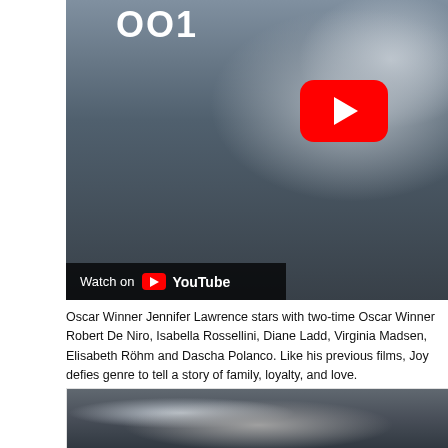[Figure (screenshot): YouTube video thumbnail showing a scene from the film 'Joy' with a person in a school uniform. A red YouTube play button is visible in the upper right. A 'Watch on YouTube' bar appears at the bottom left of the thumbnail.]
Oscar Winner Jennifer Lawrence stars with two-time Oscar Winner Robert De N... Isabella Rossellini, Diane Ladd, Virginia Madsen, Elisabeth Röhm and Dascha P... previous films, Joy defies genre to tell a story of family, loyalty, and love.
[Figure (screenshot): Second YouTube video thumbnail showing a dimly lit indoor scene with a person visible, partially cropped at the bottom of the page.]